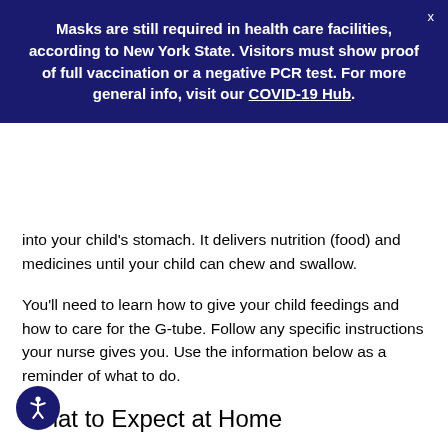Masks are still required in health care facilities, according to New York State. Visitors must show proof of full vaccination or a negative PCR test. For more general info, visit our COVID-19 Hub.
into your child's stomach. It delivers nutrition (food) and medicines until your child can chew and swallow.
You'll need to learn how to give your child feedings and how to care for the G-tube. Follow any specific instructions your nurse gives you. Use the information below as a reminder of what to do.
What to Expect at Home
Your child's G-tube may be replaced by a button, called a Bard Button or MIC-KEY, 3 to 8 weeks after surgery.